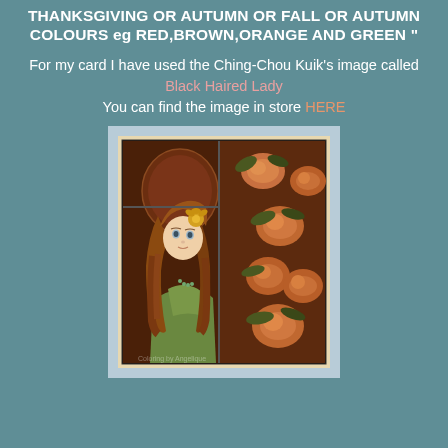THANKSGIVING OR AUTUMN OR FALL OR AUTUMN COLOURS eg RED,BROWN,ORANGE AND GREEN "
For my card I have used the Ching-Chou Kuik's image called Black Haired Lady You can find the image in store HERE
[Figure (illustration): A hand-crafted greeting card featuring a Ching-Chou Kuik illustration of a young woman with long auburn hair and yellow flower accessories, wearing a green dress, set against a dark brown background decorated with large autumn-colored roses and leaves. The card has a cream border and a light blue outer border.]